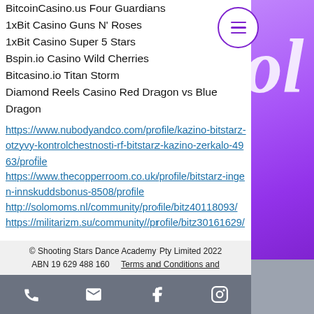BitcoinCasino.us Four Guardians
1xBit Casino Guns N' Roses
1xBit Casino Super 5 Stars
Bspin.io Casino Wild Cherries
Bitcasino.io Titan Storm
Diamond Reels Casino Red Dragon vs Blue Dragon
https://www.nubodyandco.com/profile/kazino-bitstarz-otzyvy-kontrolchestnosti-rf-bitstarz-kazino-zerkalo-4963/profile https://www.thecopperroom.co.uk/profile/bitstarz-ingen-innskuddsbonus-8508/profile http://solomoms.nl/community/profile/bitz40118093/ https://militarizm.su/community//profile/bitz30161629/
© Shooting Stars Dance Academy Pty Limited 2022
ABN 19 629 488 160    Terms and Conditions and